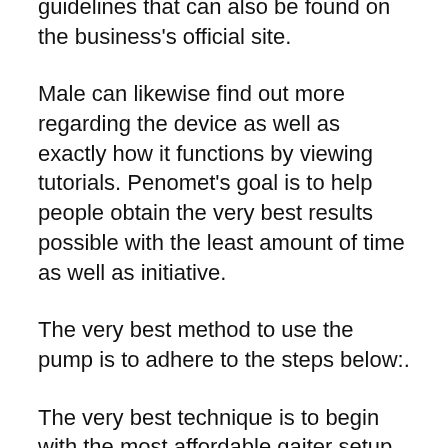guidelines that can also be found on the business's official site.
Male can likewise find out more regarding the device as well as exactly how it functions by viewing tutorials. Penomet's goal is to help people obtain the very best results possible with the least amount of time as well as initiative.
The very best method to use the pump is to adhere to the steps below:.
The very best technique is to begin with the most affordable gaiter setup. Generally, this is the purple-colored 60 gaiter. If this gaiter does not function, merely go on to the following one.